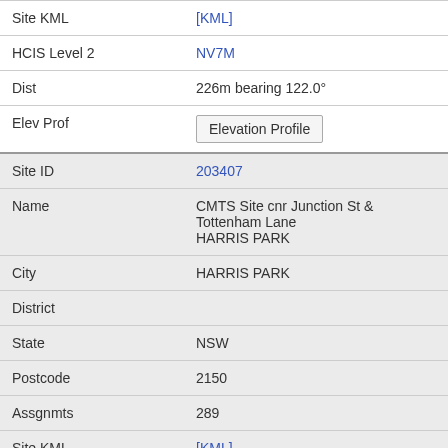| Field | Value |
| --- | --- |
| Site KML | [KML] |
| HCIS Level 2 | NV7M |
| Dist | 226m bearing 122.0° |
| Elev Prof | Elevation Profile |
| Site ID | 203407 |
| Name | CMTS Site cnr Junction St & Tottenham Lane HARRIS PARK |
| City | HARRIS PARK |
| District |  |
| State | NSW |
| Postcode | 2150 |
| Assgnmts | 289 |
| Site KML | [KML] |
| HCIS Level 2 | NV7M |
| Dist | 336m bearing 88.5° |
| Elev Prof | Elevation Profile |
| Site ID | 1000515... |